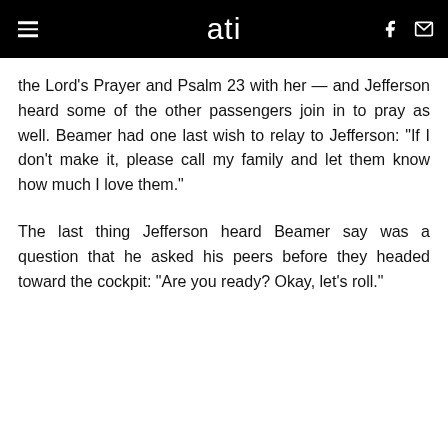ati
the Lord’s Prayer and Psalm 23 with her — and Jefferson heard some of the other passengers join in to pray as well. Beamer had one last wish to relay to Jefferson: “If I don’t make it, please call my family and let them know how much I love them.”
The last thing Jefferson heard Beamer say was a question that he asked his peers before they headed toward the cockpit: “Are you ready? Okay, let’s roll.”